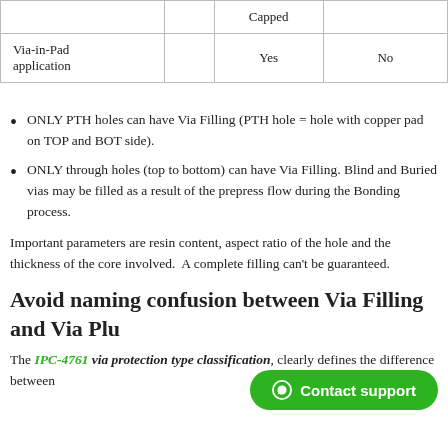|  |  | Capped |  |
| --- | --- | --- | --- |
| Via-in-Pad application |  | Yes | No |
ONLY PTH holes can have Via Filling (PTH hole = hole with copper pad on TOP and BOT side).
ONLY through holes (top to bottom) can have Via Filling. Blind and Buried vias may be filled as a result of the prepress flow during the Bonding process.
Important parameters are resin content, aspect ratio of the hole and the thickness of the core involved.  A complete filling can't be guaranteed.
Avoid naming confusion between Via Filling and Via Plu...
The IPC-4761 via protection type classification, clearly defines the difference between